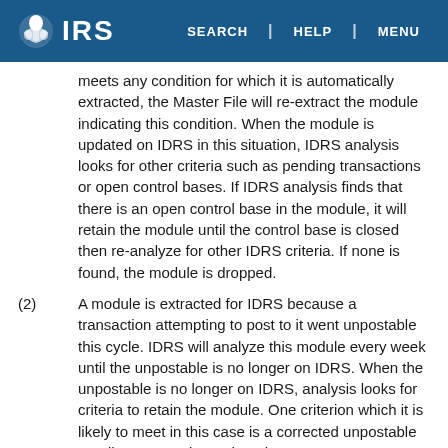IRS | SEARCH | HELP | MENU
meets any condition for which it is automatically extracted, the Master File will re-extract the module indicating this condition. When the module is updated on IDRS in this situation, IDRS analysis looks for other criteria such as pending transactions or open control bases. If IDRS analysis finds that there is an open control base in the module, it will retain the module until the control base is closed then re-analyze for other IDRS criteria. If none is found, the module is dropped.
(2) A module is extracted for IDRS because a transaction attempting to post to it went unpostable this cycle. IDRS will analyze this module every week until the unpostable is no longer on IDRS. When the unpostable is no longer on IDRS, analysis looks for criteria to retain the module. One criterion which it is likely to meet in this case is a corrected unpostable pending transaction. When the